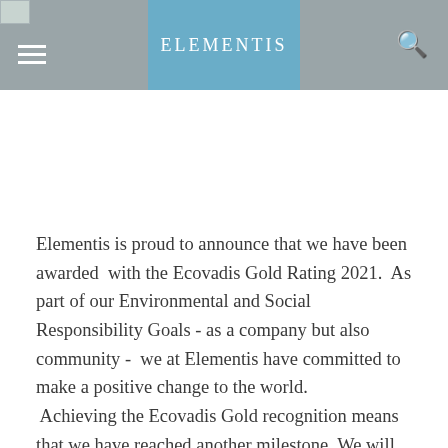ELEMENTIS
Elementis is proud to announce that we have been awarded  with the Ecovadis Gold Rating 2021.  As part of our Environmental and Social Responsibility Goals - as a company but also community -  we at Elementis have committed to make a positive change to the world.  Achieving the Ecovadis Gold recognition means that we have reached another milestone. We will continue  to work every day on minimizing our environmental impact further and making a difference as a community.